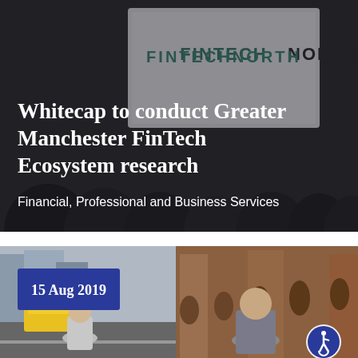[Figure (photo): Dark photo of people sitting in an audience at a FinTech North event, with a projector screen showing 'FINTECHNORTH' logo. Overlaid text reads 'Whitecap to conduct Greater Manchester FinTech Ecosystem research' and subtitle 'Financial, Professional and Business Services'.]
[Figure (photo): Photo of Manchester city street with two people (a woman and a man) in the foreground, with a blue date badge '15 Aug 2019' in the top-left corner, and an accessibility icon in the bottom-right corner.]